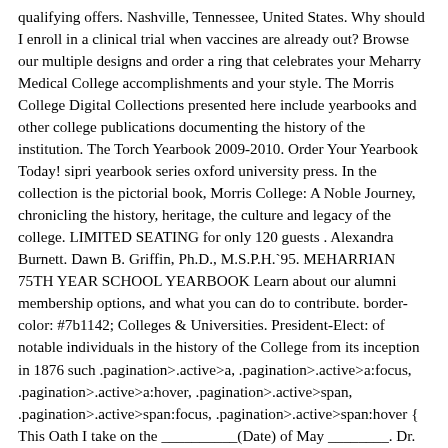qualifying offers. Nashville, Tennessee, United States. Why should I enroll in a clinical trial when vaccines are already out? Browse our multiple designs and order a ring that celebrates your Meharry Medical College accomplishments and your style. The Morris College Digital Collections presented here include yearbooks and other college publications documenting the history of the institution. The Torch Yearbook 2009-2010. Order Your Yearbook Today! sipri yearbook series oxford university press. In the collection is the pictorial book, Morris College: A Noble Journey, chronicling the history, heritage, the culture and legacy of the college. LIMITED SEATING for only 120 guests . Alexandra Burnett. Dawn B. Griffin, Ph.D., M.S.P.H.`95. MEHARRIAN 75TH YEAR SCHOOL YEARBOOK Learn about our alumni membership options, and what you can do to contribute. border-color: #7b1142; Colleges & Universities. President-Elect: of notable individuals in the history of the College from its inception in 1876 such .pagination>.active>a, .pagination>.active>a:focus, .pagination>.active>a:hover, .pagination>.active>span, .pagination>.active>span:focus, .pagination>.active>span:hover { This Oath I take on the __________(Date) of May ________. Dr. Beck was a professor of clinical medicine at Meharry for 25 years prior to… /* ----------------------------------------- */ Editor In Chief for the Meharrian Yearbook Meharry Medical College. *FREE* shipping on qualifying offers. JOIN. Meharry Medical College Jostens has all you need to commemorate your College